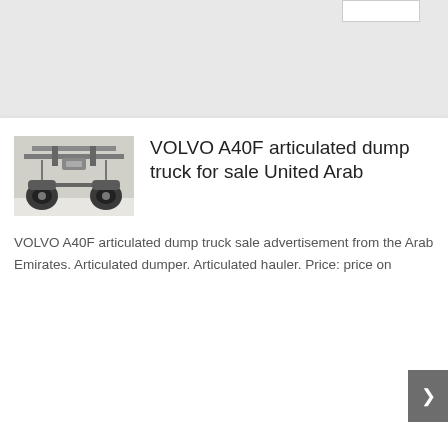[Figure (photo): Small rectangular box outline in top right corner, likely a search or input field placeholder]
[Figure (photo): Photo of a VOLVO A40F articulated dump truck, viewed from underneath/front, showing chassis, axles, and wheels, in a workshop setting]
VOLVO A40F articulated dump truck for sale United Arab
VOLVO A40F articulated dump truck sale advertisement from the Arab Emirates. Articulated dumper. Articulated hauler. Price: price on